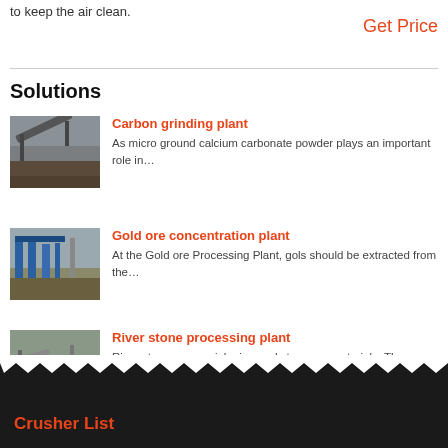to keep the air clean.
Get Price
Solutions
Carbon grinding plant — As micro ground calcium carbonate powder plays an important role in…
Gold ore concentration plant — At the Gold ore Processing Plant, gols should be extracted from the…
River stone processing plant — River stones are mainly river red stones or materials, These river…
Crusher List